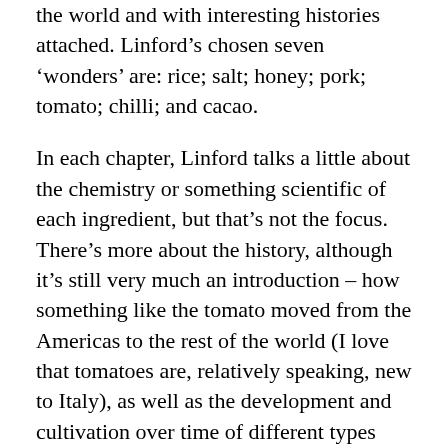the world and with interesting histories attached. Linford's chosen seven 'wonders' are: rice; salt; honey; pork; tomato; chilli; and cacao.
In each chapter, Linford talks a little about the chemistry or something scientific of each ingredient, but that's not the focus. There's more about the history, although it's still very much an introduction – how something like the tomato moved from the Americas to the rest of the world (I love that tomatoes are, relatively speaking, new to Italy), as well as the development and cultivation over time of different types (the ambition to create inedibly hot chilli is completely foreign to me). There's a fairly wide-ranging look at how different cultures use different ingredients; because this is a relatively short book (about 230 ish pages), this is by no means exhaustive, which may annoy some people if she hasn't chosen a particular culture. Still, she